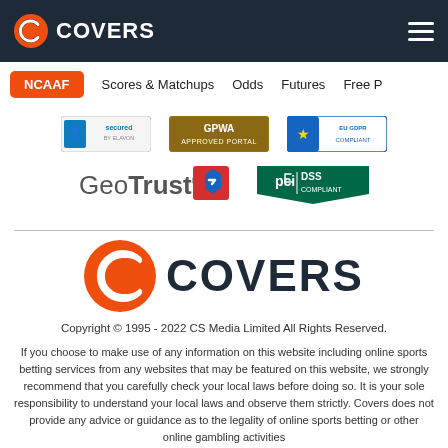COVERS — NCAAF | Scores & Matchups | Odds | Futures | Free P
[Figure (logo): Security trust badges: Secured by Elavon, GPWA Approved Portal, EU GDPR Compliant, GeoTrust, PCI DSS Compliant]
[Figure (logo): Covers logo — orange C icon and COVERS wordmark in dark navy]
Copyright © 1995 - 2022 CS Media Limited All Rights Reserved.
If you choose to make use of any information on this website including online sports betting services from any websites that may be featured on this website, we strongly recommend that you carefully check your local laws before doing so. It is your sole responsibility to understand your local laws and observe them strictly. Covers does not provide any advice or guidance as to the legality of online sports betting or other online gambling activities